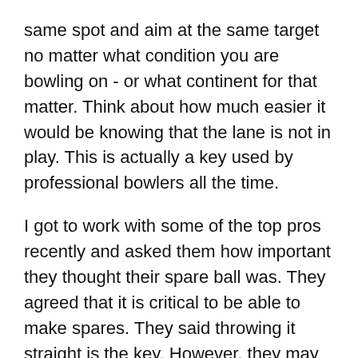same spot and aim at the same target no matter what condition you are bowling on - or what continent for that matter. Think about how much easier it would be knowing that the lane is not in play. This is actually a key used by professional bowlers all the time.
I got to work with some of the top pros recently and asked them how important they thought their spare ball was. They agreed that it is critical to be able to make spares. They said throwing it straight is the key. However, they may have used different methods to get it to go straight. For instance, some threw it hard while others switched balls; but no matter what, every single one of them threw it straight at spares - especially at single pins.